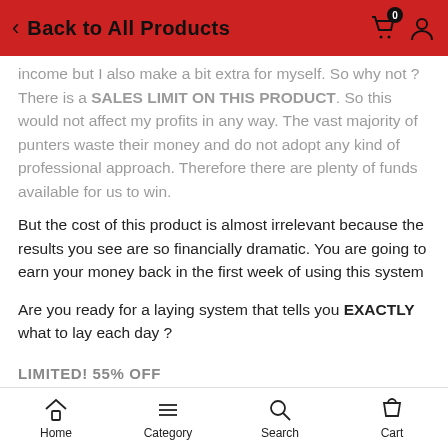Back to All Products
income but I also make a bit extra for myself. So why not ? There is a SALES LIMIT ON THIS PRODUCT. So this would not affect my profits in any way. The vast majority of punters waste their money and do not adopt any kind of professional approach. Therefore there are plenty of funds available for us to win.
But the cost of this product is almost irrelevant because the results you see are so financially dramatic. You are going to earn your money back in the first week of using this system
Are you ready for a laying system that tells you EXACTLY what to lay each day ?
LIMITED! 55% OFF
Home  Category  Search  Cart